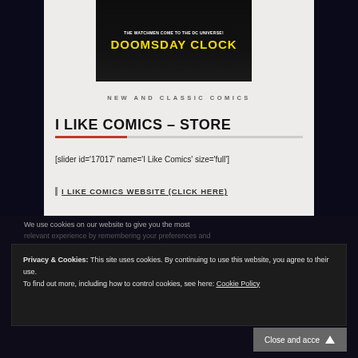[Figure (illustration): Comic book cover image showing 'Doomsday Clock' - The Watchmen Come to the DC Universe, with yellow bold text on dark background]
NEW AND CLASSIC COMICS
I LIKE COMICS – STORE
[slider id='17017' name='I Like Comics' size='full']
I LIKE COMICS WEBSITE (CLICK HERE)
We use cookies on our website to give you the most
Privacy & Cookies: This site uses cookies. By continuing to use this website, you agree to their use. To find out more, including how to control cookies, see here: Cookie Policy
Close and accept